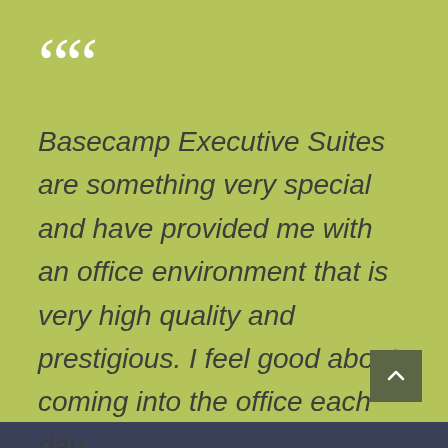““
Basecamp Executive Suites are something very special and have provided me with an office environment that is very high quality and prestigious. I feel good about coming into the office each day.